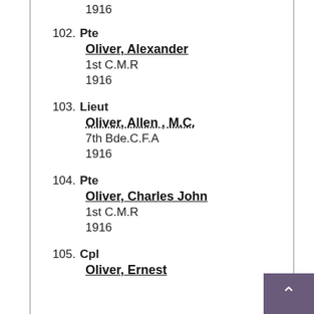1916
102. Pte
Oliver, Alexander
1st C.M.R
1916
103. Lieut
Oliver, Allen , M.C.
7th Bde.C.F.A
1916
104. Pte
Oliver, Charles John
1st C.M.R
1916
105. Cpl
Oliver, Ernest